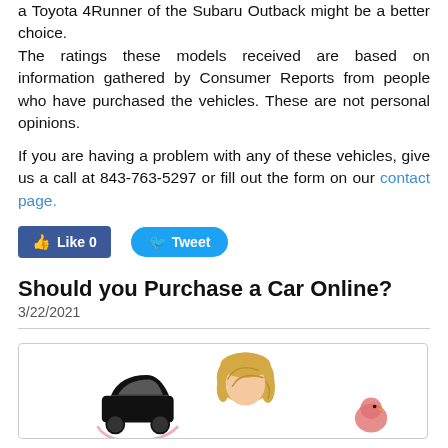a Toyota 4Runner of the Subaru Outback might be a better choice.
The ratings these models received are based on information gathered by Consumer Reports from people who have purchased the vehicles. These are not personal opinions.

If you are having a problem with any of these vehicles, give us a call at 843-763-5297 or fill out the form on our contact page.
[Figure (other): Facebook Like button (count 0) and Twitter Tweet button]
Should you Purchase a Car Online?
3/22/2021
[Figure (illustration): Cartoon illustration showing a car and a person with curly blonde hair, and a small bird or chick, partially cropped at bottom of page]